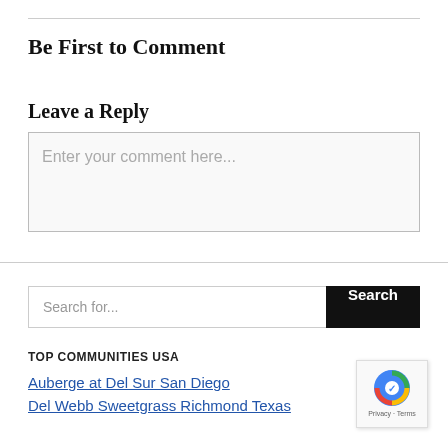Be First to Comment
Leave a Reply
Enter your comment here...
Search for...
TOP COMMUNITIES USA
Auberge at Del Sur San Diego
Del Webb Sweetgrass Richmond Texas